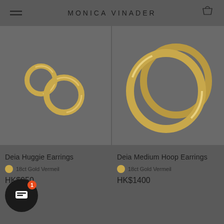MONICA VINADER
[Figure (photo): Deia Huggie Earrings - small gold huggie hoop earrings on dark grey background]
Deia Huggie Earrings
18ct Gold Vermeil
HK$950
[Figure (photo): Deia Medium Hoop Earrings - larger gold hoop earrings on dark grey background]
Deia Medium Hoop Earrings
18ct Gold Vermeil
HK$1400